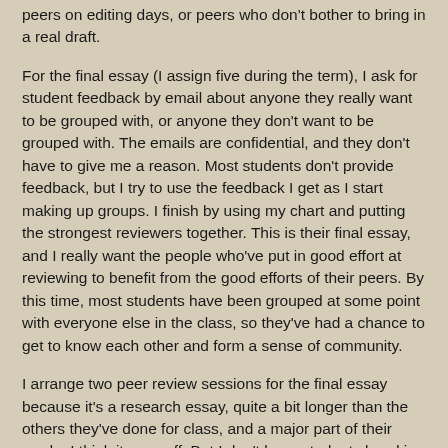peers on editing days, or peers who don't bother to bring in a real draft.
For the final essay (I assign five during the term), I ask for student feedback by email about anyone they really want to be grouped with, or anyone they don't want to be grouped with. The emails are confidential, and they don't have to give me a reason. Most students don't provide feedback, but I try to use the feedback I get as I start making up groups. I finish by using my chart and putting the strongest reviewers together. This is their final essay, and I really want the people who've put in good effort at reviewing to benefit from the good efforts of their peers. By this time, most students have been grouped at some point with everyone else in the class, so they've had a chance to get to know each other and form a sense of community.
I arrange two peer review sessions for the final essay because it's a research essay, quite a bit longer than the others they've done for class, and a major part of their grade. I think it pays off. But I don't have students hand in the second written response.